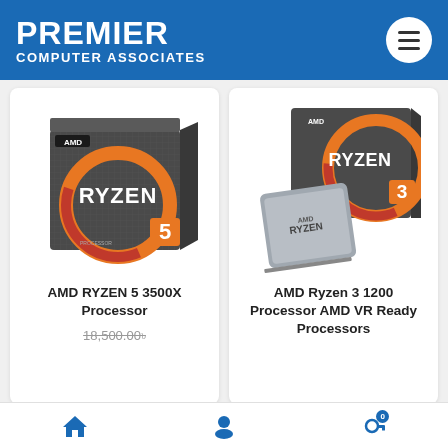PREMIER COMPUTER ASSOCIATES
[Figure (photo): AMD RYZEN 5 3500X processor box product image]
AMD RYZEN 5 3500X Processor
18,500.00৳
[Figure (photo): AMD Ryzen 3 1200 processor box and chip product image]
AMD Ryzen 3 1200 Processor AMD VR Ready Processors
Home | Account | Cart (0)